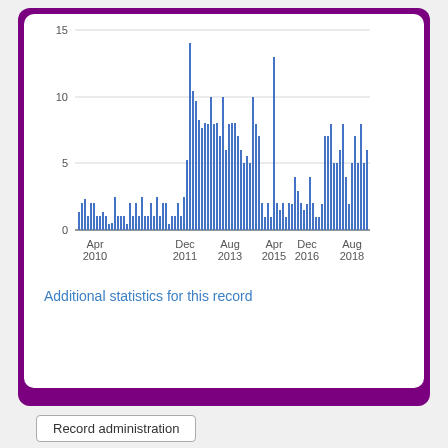[Figure (bar-chart): ]
Additional statistics for this record
Record administration